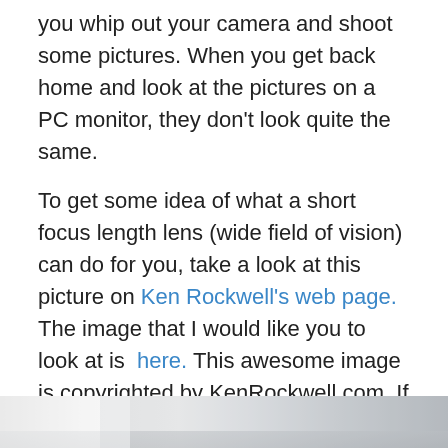you whip out your camera and shoot some pictures. When you get back home and look at the pictures on a PC monitor, they don't look quite the same.
To get some idea of what a short focus length lens (wide field of vision) can do for you, take a look at this picture on Ken Rockwell's web page. The image that I would like you to look at is here. This awesome image is copyrighted by KenRockwell.com. If you are a photo buff, you should bookmark kenrockwell.com and subscribe to the RSS feed. I find it absolutely invaluable.
I don't have this kind of amazing 13mm lens but a panoramic image using stitching can produce a similar field of view.
[Figure (photo): Bottom portion of a panoramic photograph showing a grey/silver sky or landscape, partially visible at the bottom of the page.]